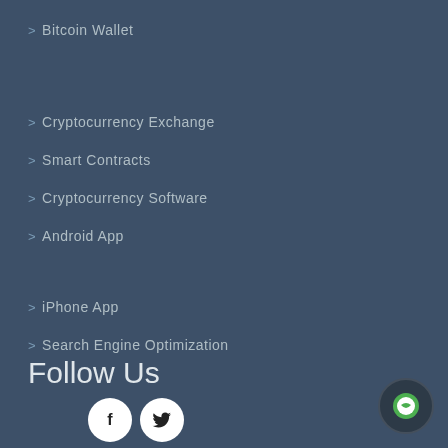> Bitcoin Wallet
> Cryptocurrency Exchange
> Smart Contracts
> Cryptocurrency Software
> Android App
> iPhone App
> Search Engine Optimization
Follow Us
[Figure (other): Social media icons: Facebook and Twitter circular buttons]